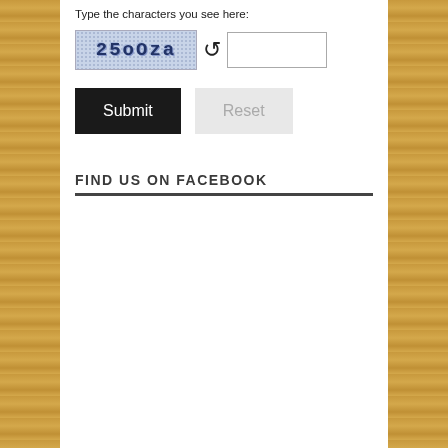Type the characters you see here:
[Figure (screenshot): CAPTCHA image showing text '25oOza' on a blue speckled background, with a refresh/reload icon and an empty text input field]
[Figure (screenshot): Submit button (black background, white text) and Reset button (light gray background, gray text)]
FIND US ON FACEBOOK